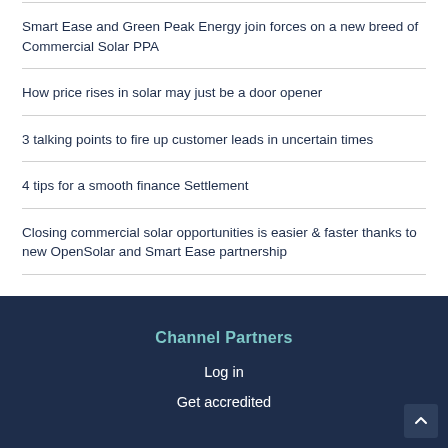Smart Ease and Green Peak Energy join forces on a new breed of Commercial Solar PPA
How price rises in solar may just be a door opener
3 talking points to fire up customer leads in uncertain times
4 tips for a smooth finance Settlement
Closing commercial solar opportunities is easier & faster thanks to new OpenSolar and Smart Ease partnership
Channel Partners
Log in
Get accredited